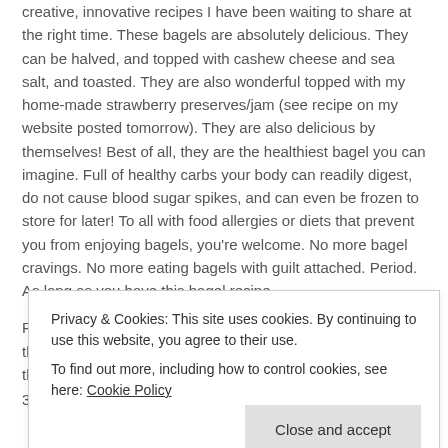creative, innovative recipes I have been waiting to share at the right time. These bagels are absolutely delicious. They can be halved, and topped with cashew cheese and sea salt, and toasted. They are also wonderful topped with my home-made strawberry preserves/jam (see recipe on my website posted tomorrow). They are also delicious by themselves! Best of all, they are the healthiest bagel you can imagine. Full of healthy carbs your body can readily digest, do not cause blood sugar spikes, and can even be frozen to store for later! To all with food allergies or diets that prevent you from enjoying bagels, you're welcome. No more bagel cravings. No more eating bagels with guilt attached. Period. As long as you have this bagel recipe.
P.S.-I usually give myself a block of time to make these as they take a little longer than most of my recipes. However they are
Privacy & Cookies: This site uses cookies. By continuing to use this website, you agree to their use.
To find out more, including how to control cookies, see here: Cookie Policy
Close and accept
3. Tbsp. honey